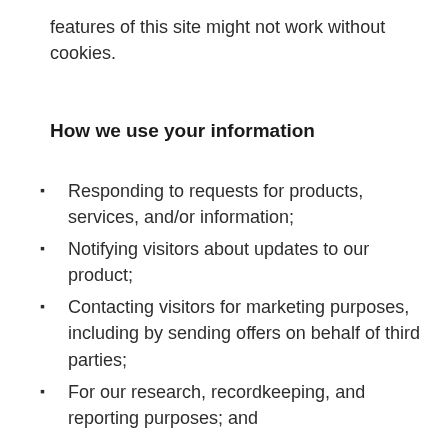features of this site might not work without cookies.
How we use your information
Responding to requests for products, services, and/or information;
Notifying visitors about updates to our product;
Contacting visitors for marketing purposes, including by sending offers on behalf of third parties;
For our research, recordkeeping, and reporting purposes; and